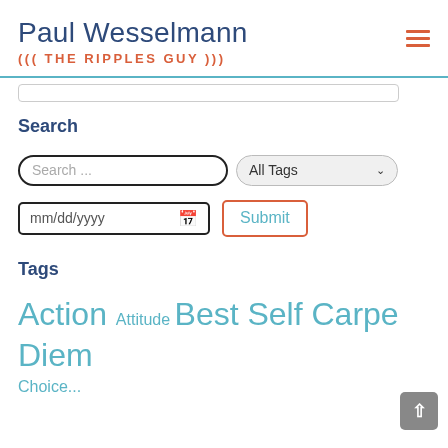Paul Wesselmann
((( THE RIPPLES GUY )))
Search
Search ... [input] | All Tags [dropdown]
mm/dd/yyyy [date input] | Submit [button]
Tags
Action Attitude Best Self Carpe Diem Choice...